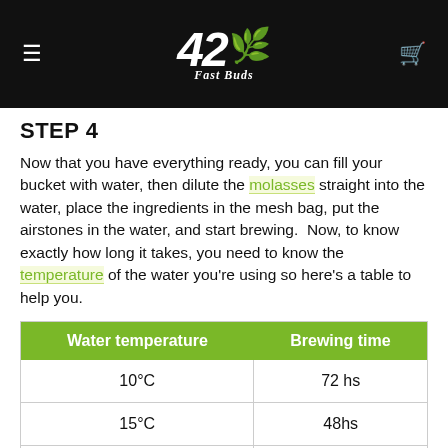42 Fast Buds
STEP 4
Now that you have everything ready, you can fill your bucket with water, then dilute the molasses straight into the water, place the ingredients in the mesh bag, put the airstones in the water, and start brewing.  Now, to know exactly how long it takes, you need to know the temperature of the water you're using so here's a table to help you.
| Water temperature | Brewing time |
| --- | --- |
| 10°C | 72 hs |
| 15°C | 48hs |
| 20°C | 24hs |
| 25°C | 24hs |